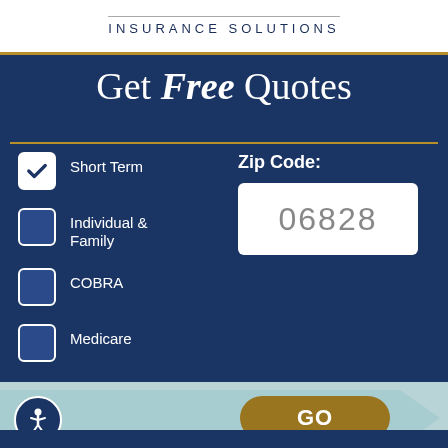INSURANCE SOLUTIONS
Get Free Quotes
Short Term (checked)
Individual & Family
COBRA
Medicare
Zip Code: 06828
GO